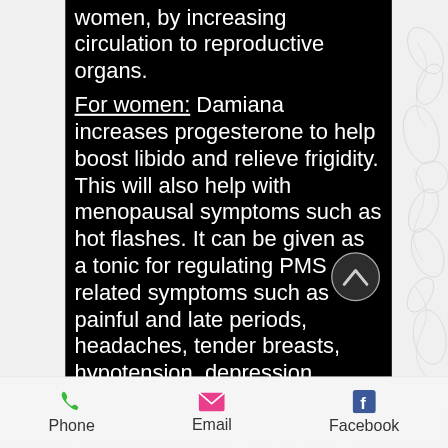women, by increasing circulation to reproductive organs. For women: Damiana increases progesterone to help boost libido and relieve frigidity. This will also help with menopausal symptoms such as hot flashes. It can be given as a tonic for regulating PMS related symptoms such as painful and late periods, headaches, tender breasts, hypotension, depression, anxiety and spasmodic dysmenorrhea. Balancing hormones may also help with thyroid deficiency and increasing metabolism. For men: Damiana's testosterogenic
Phone   Email   Facebook